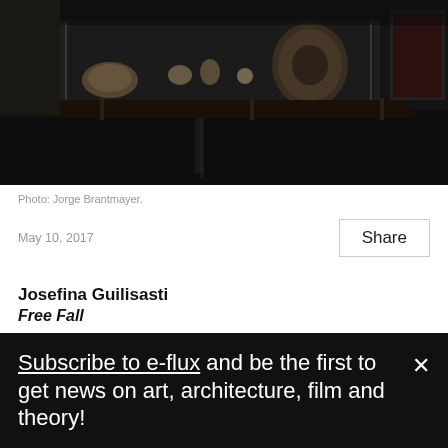[Figure (photo): Interior of a dark museum gallery with display cases containing artifacts, a large dark reflective floor, and a tall display stand with a large disk-shaped object.]
Photo: Jorge Brantmayer.
May 10, 2017
Share
Josefina Guilisasti
Free Fall
Subscribe to e-flux and be the first to get news on art, architecture, film and theory!